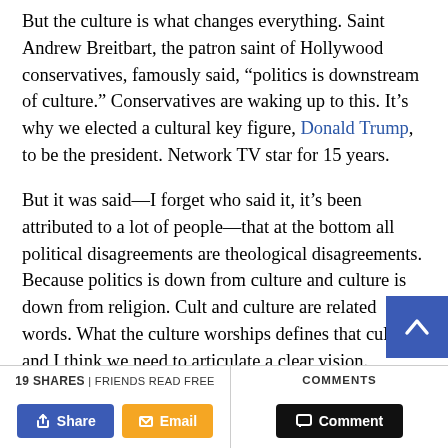But the culture is what changes everything. Saint Andrew Breitbart, the patron saint of Hollywood conservatives, famously said, “politics is downstream of culture.” Conservatives are waking up to this. It’s why we elected a cultural key figure, Donald Trump, to be the president. Network TV star for 15 years.
But it was said—I forget who said it, it’s been attributed to a lot of people—that at the bottom all political disagreements are theological disagreements. Because politics is down from culture and culture is down from religion. Cult and culture are related words. What the culture worships defines that culture, and I think we need to articulate a clear vision.
19 SHARES | FRIENDS READ FREE
COMMENTS